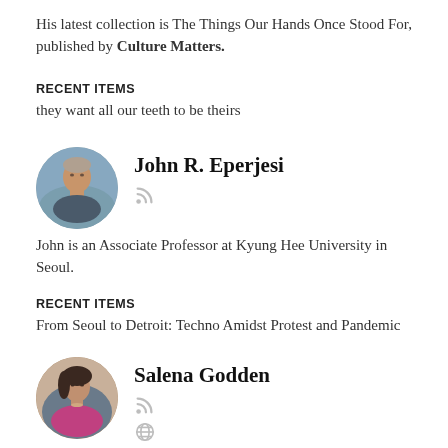His latest collection is The Things Our Hands Once Stood For, published by Culture Matters.
RECENT ITEMS
they want all our teeth to be theirs
[Figure (photo): Circular profile photo of John R. Eperjesi]
John R. Eperjesi
John is an Associate Professor at Kyung Hee University in Seoul.
RECENT ITEMS
From Seoul to Detroit: Techno Amidst Protest and Pandemic
[Figure (photo): Circular profile photo of Salena Godden]
Salena Godden
Salena Godden has been described as 'The laureate of the